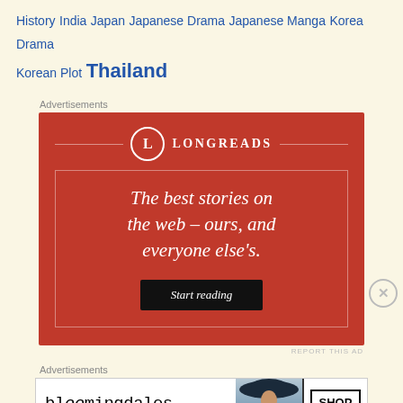History India Japan Japanese Drama Japanese Manga Korea Drama Korean Plot Thailand
Advertisements
[Figure (illustration): Longreads advertisement: red background with logo, inner border rectangle, italic serif tagline 'The best stories on the web – ours, and everyone else's.' with a dark 'Start reading' button.]
Advertisements
[Figure (illustration): Bloomingdale's advertisement: white background with cursive logo, 'View Today's Top Deals!' text, model with wide-brim hat, 'SHOP NOW >' button.]